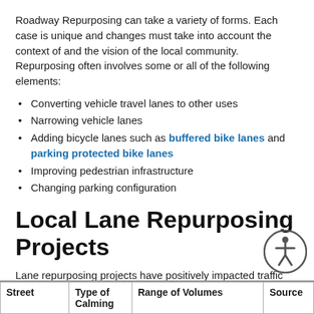Roadway Repurposing can take a variety of forms. Each case is unique and changes must take into account the context of and the vision of the local community. Repurposing often involves some or all of the following elements:
Converting vehicle travel lanes to other uses
Narrowing vehicle lanes
Adding bicycle lanes such as buffered bike lanes and parking protected bike lanes
Improving pedestrian infrastructure
Changing parking configuration
Local Lane Repurposing Projects
Lane repurposing projects have positively impacted traffic safety on several roadways in Colorado Springs. Click here to view traffic counts and changes in speeds from lane recent repurposing projects.
| Street | Type of Calming | Range of Volumes | Source |
| --- | --- | --- | --- |